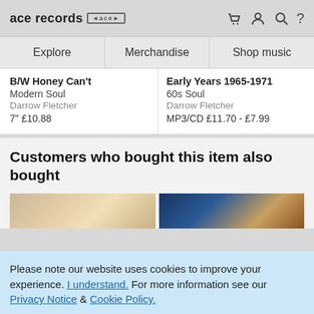ace records [ace logo] [cart] [user] [search] [?]
Explore | Merchandise | Shop music
B/W Honey Can't
Modern Soul
Darrow Fletcher
7" £10.88
Early Years 1965-1971
60s Soul
Darrow Fletcher
MP3/CD £11.70 - £7.99
Customers who bought this item also bought
[Figure (photo): Album cover thumbnail - warm tones]
[Figure (photo): Album cover thumbnail - blue and dark tones]
Please note our website uses cookies to improve your experience. I understand. For more information see our Privacy Notice & Cookie Policy.